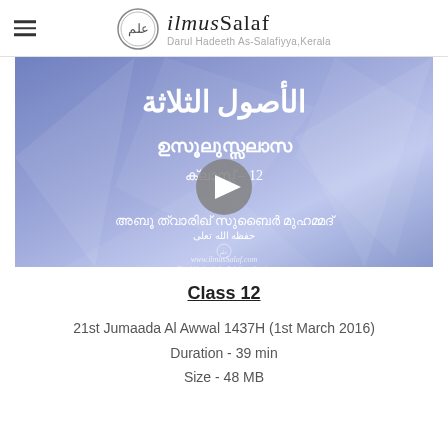ilmusSalaf - Darul Hadeeth As-Salafiyya, Kerala
[Figure (screenshot): Video thumbnail showing Arabic text (Al-Usool Ath-Thalaatha) and Malayalam text (Usulussalas), Class 12 indicator, speaker name in Malayalam and Arabic, and ilmusSalaf.com watermark, with a play button overlay on a blue geometric background]
Class 12
21st Jumaada Al Awwal 1437H (1st March 2016)
Duration - 39 min
Size - 48 MB